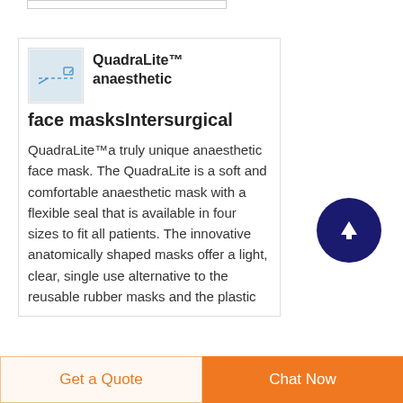[Figure (photo): Small product image of QuadraLite anaesthetic face mask on light blue background]
QuadraLite™ anaesthetic face masksIntersurgical
QuadraLite™a truly unique anaesthetic face mask. The QuadraLite is a soft and comfortable anaesthetic mask with a flexible seal that is available in four sizes to fit all patients. The innovative anatomically shaped masks offer a light, clear, single use alternative to the reusable rubber masks and the plastic
[Figure (other): Dark navy blue circular scroll-to-top button with white upward arrow]
Get a Quote
Chat Now